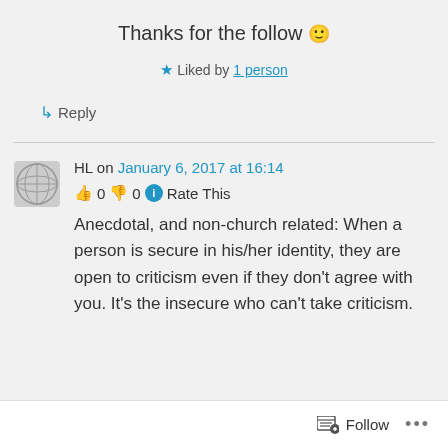Thanks for the follow 🙂
★ Liked by 1 person
↳ Reply
HL on January 6, 2017 at 16:14
👍 0 👎 0 ℹ Rate This
Anecdotal, and non-church related: When a person is secure in his/her identity, they are open to criticism even if they don't agree with you. It's the insecure who can't take criticism.